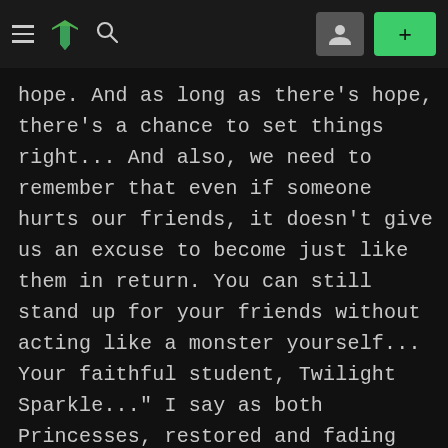≡ ⚡ 🔍  [profile] [+]
hope. And as long as there's hope, there's a chance to set things right... And also, we need to remember that even if someone hurts our friends, it doesn't give us an excuse to become just like them in return. You can still stand up for your friends without acting like a monster yourself... Your faithful student, Twilight Sparkle..." I say as both Princesses, restored and fading themselves, stand over me smiling. I smile back. We just stand together as everything goes white and my memories of this world fade, replaced by memories of a new one...